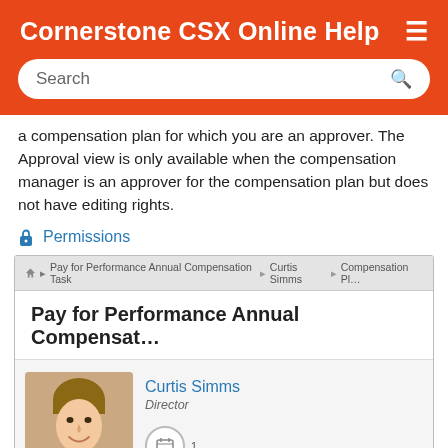Cornerstone CSX Online Help
a compensation plan for which you are an approver. The Approval view is only available when the compensation manager is an approver for the compensation plan but does not have editing rights.
Permissions
[Figure (screenshot): Screenshot of Cornerstone CSX application showing a breadcrumb navigation with 'Pay for Performance Annual Compensation Task', 'Curtis Simms', 'Compensation Pl...' links. Below is a page titled 'Pay for Performance Annual Compensat...' with a profile section showing a photo of a man smiling, name 'Curtis Simms', title 'Director', and a calendar icon.]